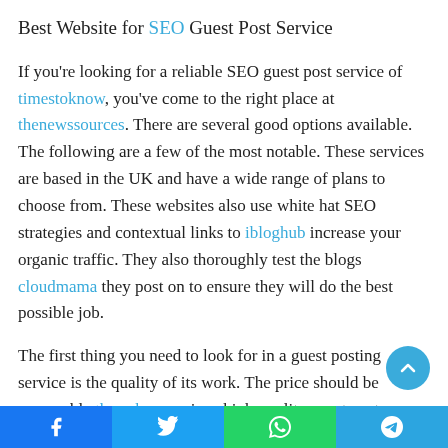Best Website for SEO Guest Post Service
If you're looking for a reliable SEO guest post service of timestoknow, you've come to the right place at thenewssources. There are several good options available. The following are a few of the most notable. These services are based in the UK and have a wide range of plans to choose from. These websites also use white hat SEO strategies and contextual links to ibloghub increase your organic traffic. They also thoroughly test the blogs cloudmama they post on to ensure they will do the best possible job.
The first thing you need to look for in a guest posting service is the quality of its work. The price should be reasonable thewebgross since high-quality guest posts require a lot of time and timesvinee. Avoid websites that promise to do it for